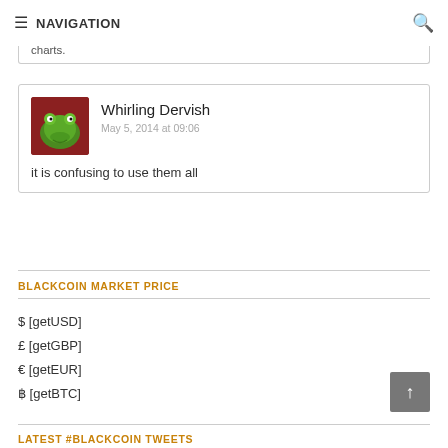NAVIGATION
Most of those indicators (parabolic SAR, bollinger bands, Ichimoku) are not available in Bitcoinwisdom charts.
Whirling Dervish
May 5, 2014 at 09:06
it is confusing to use them all
BLACKCOIN MARKET PRICE
$ [getUSD]
£ [getGBP]
€ [getEUR]
₿ [getBTC]
LATEST #BLACKCOIN TWEETS